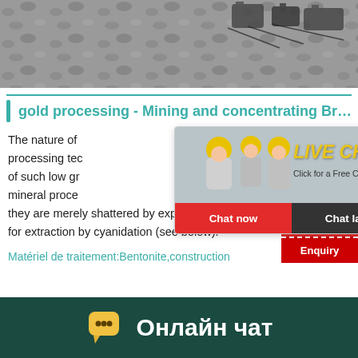[Figure (photo): Mining equipment machinery photo banner at the top of the page]
gold processing - Mining and concentrating Br…
The nature of processing technology of such low gr mineral processing they are merely shattered by explosives and t for extraction by cyanidation (see below).
Matériel de traitement:Bentonite,construction
[Figure (screenshot): Live chat popup overlay with workers image, LIVE CHAT text in yellow italic, 'Click for a Free Consultation', 'Chat now' red button and 'Chat later' dark button]
[Figure (screenshot): Right-side panel showing '24 Hour Online', agent photo, 'Click To Chat' red button, and 'Enquiry' dark red button]
Онлайн чат